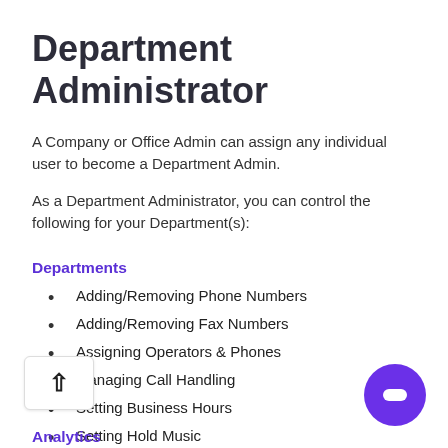Department Administrator
A Company or Office Admin can assign any individual user to become a Department Admin.
As a Department Administrator, you can control the following for your Department(s):
Departments
Adding/Removing Phone Numbers
Adding/Removing Fax Numbers
Assigning Operators & Phones
Managing Call Handling
Setting Business Hours
Setting Hold Music
Analytics